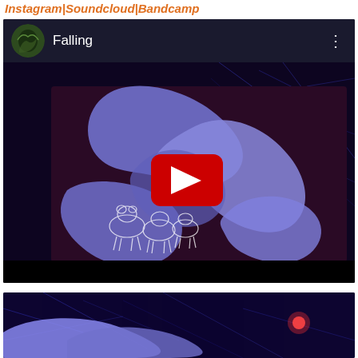Instagram | Soundcloud | Bandcamp
[Figure (screenshot): YouTube video embed showing a video titled 'Falling' with a purple/dark abstract art thumbnail featuring blob shapes and neural network-like glowing lines, with a red YouTube play button in the center and a circular avatar in the top left corner.]
[Figure (screenshot): Bottom portion of a webpage showing a close-up of the same purple/dark abstract art with glowing neural network lines and blob shapes, cropped at the bottom of the page.]